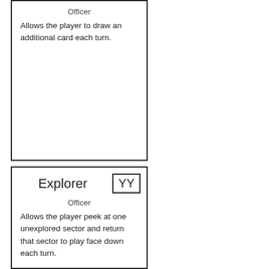Officer
Allows the player to draw an additional card each turn.
Explorer
Officer
Allows the player peek at one unexplored sector and return that sector to play face down each turn.